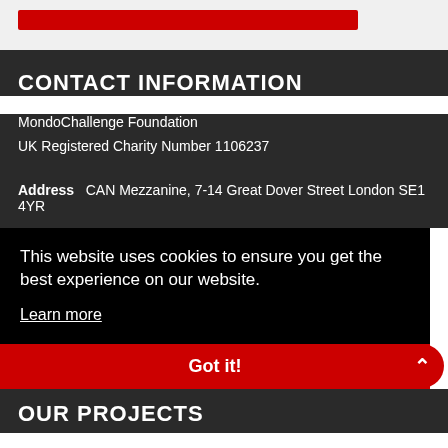CONTACT INFORMATION
MondoChallenge Foundation
UK Registered Charity Number 1106237
Address   CAN Mezzanine, 7-14 Great Dover Street London SE1 4YR
This website uses cookies to ensure you get the best experience on our website.
Learn more
Got it!
OUR PROJECTS